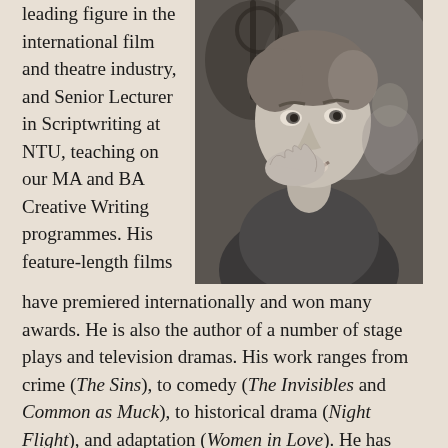leading figure in the international film and theatre industry, and Senior Lecturer in Scriptwriting at NTU, teaching on our MA and BA Creative Writing programmes. His feature-length films
[Figure (photo): Black and white portrait photo of a smiling man resting his chin on his hand, seated in what appears to be a decorative metal chair or railing setting.]
have premiered internationally and won many awards. He is also the author of a number of stage plays and television dramas. His work ranges from crime (The Sins), to comedy (The Invisibles and Common as Muck), to historical drama (Night Flight), and adaptation (Women in Love). He has received major critical success for his work, with his seven-part series, The Sins, winning The Edgar Allan Poe Award in New York, and his television drama, Journey to Knock, winning Best